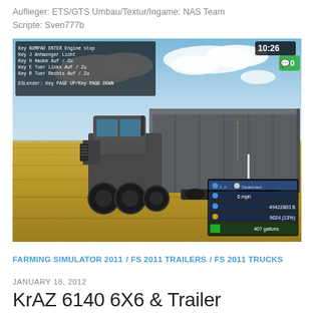Auflieger: ETS/GTS Umbau/Textur/Ingame: NAS Team
Scripte: Sven777b
[Figure (screenshot): In-game screenshot of a KrAZ 6140 6X6 military truck pulling a large gray trailer through a harvested wheat field. The game UI shows time 10:26, vehicle HUD in lower right with speed 0 mph, funds 49422803 $, fuel 9024 (13%), capacity 407 gallons. Key bindings overlay visible in upper left.]
FARMING SIMULATOR 2011 / FS 2011 TRAILERS / FS 2011 TRUCKS
JANUARY 18, 2012
KrAZ 6140 6X6 & Trailer